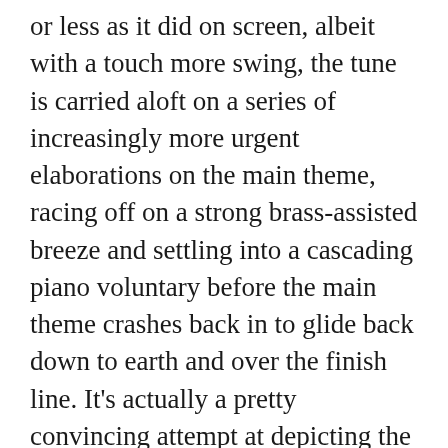or less as it did on screen, albeit with a touch more swing, the tune is carried aloft on a series of increasingly more urgent elaborations on the main theme, racing off on a strong brass-assisted breeze and settling into a cascading piano voluntary before the main theme crashes back in to glide back down to earth and over the finish line. It's actually a pretty convincing attempt at depicting the entire balloon journey in music, and ironically does actually leave the listener longing for an accompanying Ray Brooks narration. It's